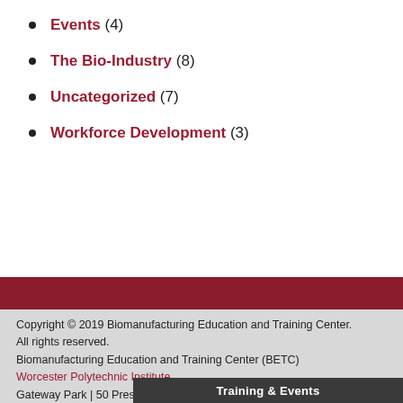Events (4)
The Bio-Industry (8)
Uncategorized (7)
Workforce Development (3)
Copyright © 2019 Biomanufacturing Education and Training Center.
All rights reserved.
Biomanufacturing Education and Training Center (BETC)
Worcester Polytechnic Institute
Gateway Park | 50 Prescott Street, Worcester, MA 01605
+1-508-831-4879 | betc@wpi.edu
Training & Events